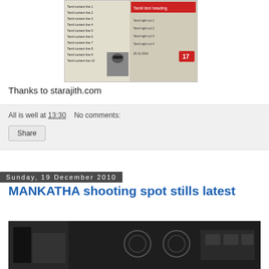[Figure (photo): Tamil language magazine/newspaper clipping with text in Tamil script and a small photo of a person wearing sunglasses]
Thanks to starajith.com
All is well at 13:30    No comments:
Share
Sunday, 19 December 2010
MANKATHA shooting spot stills latest
[Figure (photo): Dark indoor shooting spot photo, showing equipment and circular objects, black and white/dark tones]